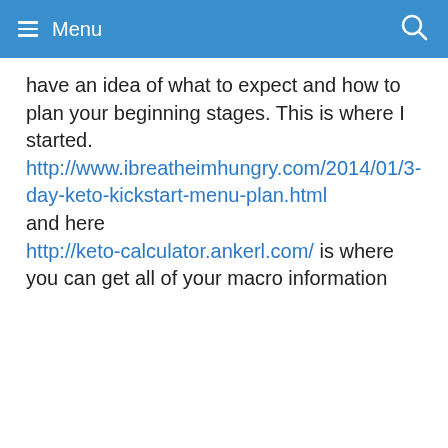Menu
have an idea of what to expect and how to plan your beginning stages. This is where I started. http://www.ibreatheimhungry.com/2014/01/3-day-keto-kickstart-menu-plan.html and here http://keto-calculator.ankerl.com/ is where you can get all of your macro information